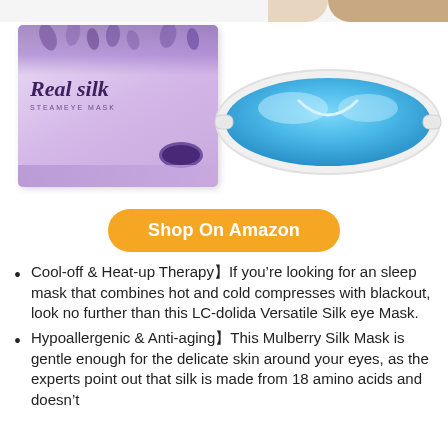[Figure (photo): Product photo showing a purple 'Real silk STEAMEYE MASK' box alongside a blue gel eye mask on white background]
[Figure (other): Orange rounded button labeled 'Shop On Amazon']
Cool-off & Heat-up Therapy【If you’re looking for an sleep mask that combines hot and cold compresses with blackout, look no further than this LC-dolida Versatile Silk eye Mask.
Hypoallergenic & Anti-aging【This Mulberry Silk Mask is gentle enough for the delicate skin around your eyes, as the experts point out that silk is made from 18 amino acids and doesn’t